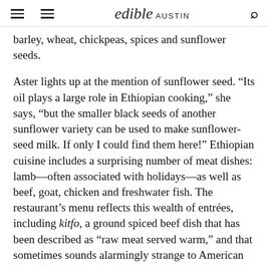edible AUSTIN
barley, wheat, chickpeas, spices and sunflower seeds.
Aster lights up at the mention of sunflower seed. “Its oil plays a large role in Ethiopian cooking,” she says, “but the smaller black seeds of another sunflower variety can be used to make sunflower-seed milk. If only I could find them here!” Ethiopian cuisine includes a surprising number of meat dishes: lamb—often associated with holidays—as well as beef, goat, chicken and freshwater fish. The restaurant’s menu reflects this wealth of entrées, including kitfo, a ground spiced beef dish that has been described as “raw meat served warm,” and that sometimes sounds alarmingly strange to American